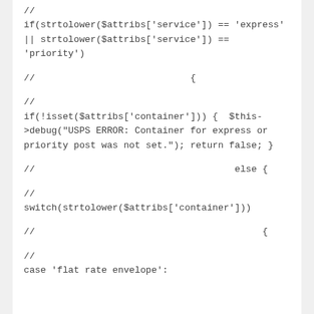//
if(strtolower($attribs['service']) == 'express'
|| strtolower($attribs['service']) ==
'priority')

//                            {

//
if(!isset($attribs['container'])) {  $this-
>debug("USPS ERROR: Container for express or
priority post was not set."); return false; }

//                                    else {

//
switch(strtolower($attribs['container']))

//                                         {

//
case 'flat rate envelope':